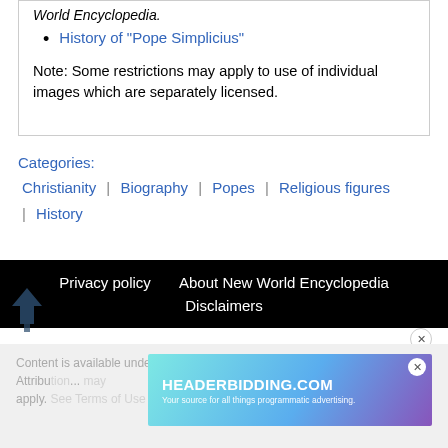World Encyclopedia.
History of "Pope Simplicius"
Note: Some restrictions may apply to use of individual images which are separately licensed.
Categories:
Christianity | Biography | Popes | Religious figures | History
Privacy policy   About New World Encyclopedia   Disclaimers
Content is available under Creative Commons Attribution... apply. See Terms of Use for details.
[Figure (screenshot): HEADERBIDDING.COM advertisement banner - Your source for all things programmatic advertising.]